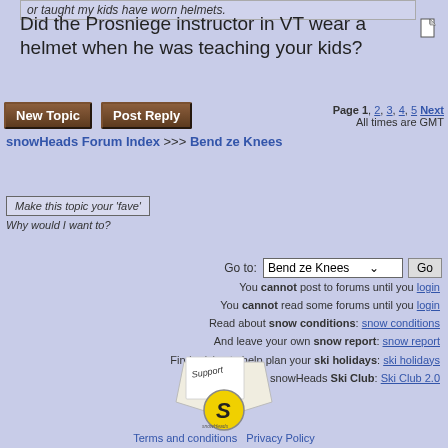or taught my kids have worn helmets.
Did the Prosniege instructor in VT wear a helmet when he was teaching your kids?
New Topic   Post Reply   Page 1, 2, 3, 4, 5  Next  All times are GMT
snowHeads Forum Index >>> Bend ze Knees
Make this topic your 'fave'
Why would I want to?
Go to: Bend ze Knees  Go
You cannot post to forums until you login
You cannot read some forums until you login
Read about snow conditions: snow conditions
And leave your own snow report: snow report
Find advice to help plan your ski holidays: ski holidays
The snowHeads Ski Club: Ski Club 2.0
[Figure (logo): snowHeads support logo with yellow S emblem]
Terms and conditions   Privacy Policy